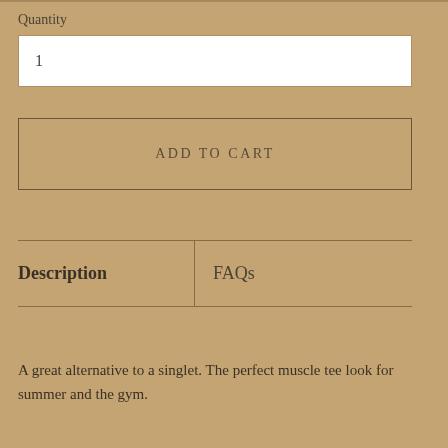Quantity
1
ADD TO CART
| Description | FAQs |
| --- | --- |
A great alternative to a singlet. The perfect muscle tee look for summer and the gym.